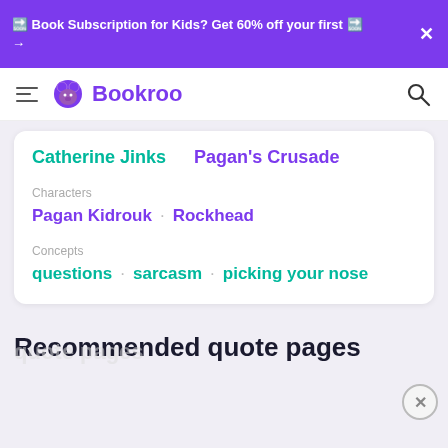📚 Book Subscription for Kids? Get 60% off your first 📚 →
Bookroo
Catherine Jinks    Pagan's Crusade
Characters
Pagan Kidrouk · Rockhead
Concepts
questions · sarcasm · picking your nose
Recommended quote pages